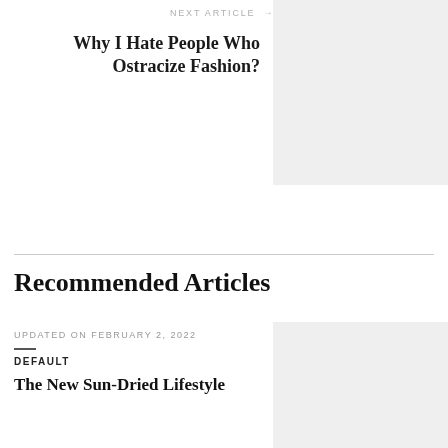NEXT ARTICLE →
Why I Hate People Who Ostracize Fashion?
[Figure (photo): Gray placeholder image for next article]
Recommended Articles
UPDATED ON FEBRUARY 2, 2022
DEFAULT
The New Sun-Dried Lifestyle
[Figure (photo): Gray placeholder image for first recommended article]
UPDATED ON MARCH 12, 2021
DEFAULT
7 stood out best ideas I've ever